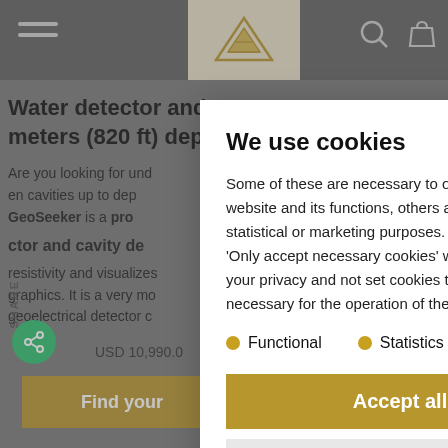Navigation bar with hamburger menu, pyramid logo, search and cart icons
Water detector and meters (820 ft) dep
Are you looking for und en cavities up to dep GeoSeeker is a pro ctor and cavity de resistivity and visualizes graphics. It is a very mo geoelectrical detector c
USD 10,990.0
Find your
We use cookies
Some of these are necessary to op website and its functions, others a statistical or marketing purposes. 'Only accept necessary cookies' w your privacy and not set cookies th necessary for the operation of the
Functional
Statistics
Accept all
Only accept functional c